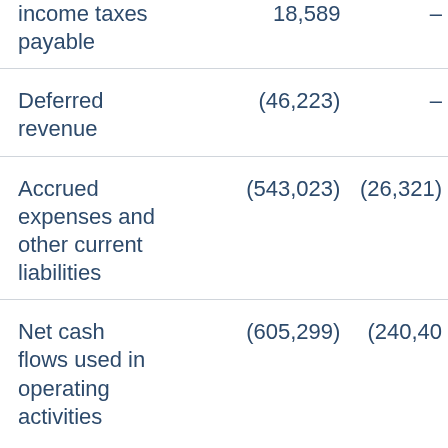|  | Col1 | Col2 |
| --- | --- | --- |
| income taxes payable | 18,589 | – |
| Deferred revenue | (46,223) | – |
| Accrued expenses and other current liabilities | (543,023) | (26,321) |
| Net cash flows used in operating activities | (605,299) | (240,40…) |